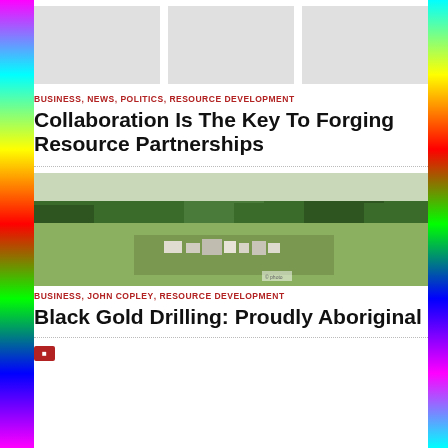[Figure (photo): Three placeholder gray image boxes arranged horizontally at the top of the page]
BUSINESS, NEWS, POLITICS, RESOURCE DEVELOPMENT
Collaboration Is The Key To Forging Resource Partnerships
[Figure (photo): Aerial photograph of an industrial or resource extraction site surrounded by forest and fields]
BUSINESS, JOHN COPLEY, RESOURCE DEVELOPMENT
Black Gold Drilling: Proudly Aboriginal